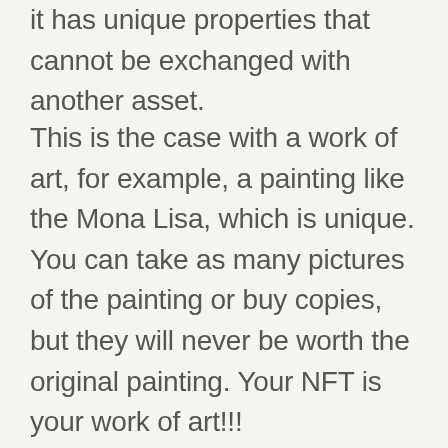it has unique properties that cannot be exchanged with another asset.
This is the case with a work of art, for example, a painting like the Mona Lisa, which is unique. You can take as many pictures of the painting or buy copies, but they will never be worth the original painting. Your NFT is your work of art!!!
Who would have ever thought that one day you could own a work of art without even having to break into an art museum?
NFTs are “unique” assets in the digital world that can be bought and sold like any other asset, but they